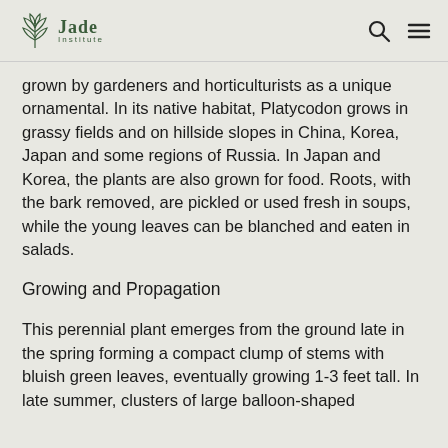Jade Institute
grown by gardeners and horticulturists as a unique ornamental. In its native habitat, Platycodon grows in grassy fields and on hillside slopes in China, Korea, Japan and some regions of Russia. In Japan and Korea, the plants are also grown for food. Roots, with the bark removed, are pickled or used fresh in soups, while the young leaves can be blanched and eaten in salads.
Growing and Propagation
This perennial plant emerges from the ground late in the spring forming a compact clump of stems with bluish green leaves, eventually growing 1-3 feet tall. In late summer, clusters of large balloon-shaped buds form, opening to typically indigo-blue